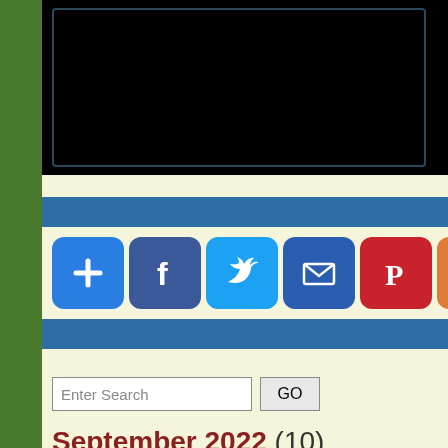[Figure (screenshot): Black video player area with dark border]
[Figure (infographic): Row of social sharing icon buttons: Add (+), Facebook, Twitter, Email, Pinterest, Blogger]
Enter Search [input] GO [button]
September 2022 (10)
August 2022 (269)
July 2022 (424)
June 2022 (403)